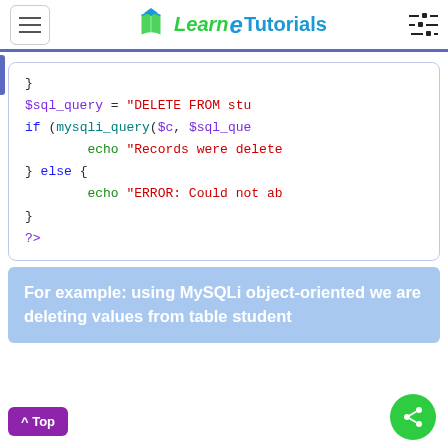Learn e-Tutorials
[Figure (screenshot): PHP code block showing SQL DELETE query with mysqli_query, if/else block, and echo statements for success/error, ending with PHP closing tag ?>]
For example: using MySQLi object-oriented we are deleting values from table student